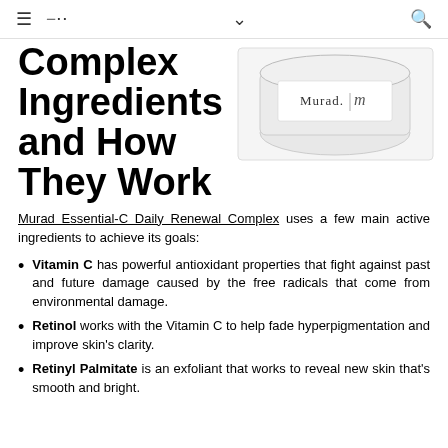≡ < ∨ 🔍
Complex Ingredients and How They Work
[Figure (photo): A white jar of Murad Essential-C Daily Renewal Complex skincare product with the Murad logo visible on the label.]
Murad Essential-C Daily Renewal Complex uses a few main active ingredients to achieve its goals:
Vitamin C has powerful antioxidant properties that fight against past and future damage caused by the free radicals that come from environmental damage.
Retinol works with the Vitamin C to help fade hyperpigmentation and improve skin's clarity.
Retinyl Palmitate is an exfoliant that works to reveal new skin that's smooth and bright.